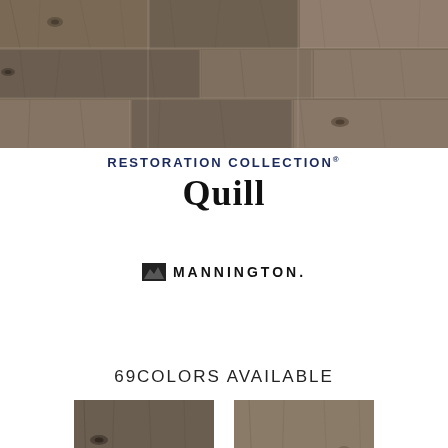[Figure (photo): Close-up photo of wood flooring planks in a gray-brown taupe tone, showing wood grain and knots across multiple wide planks.]
RESTORATION COLLECTION® Quill
[Figure (logo): Mannington logo: small black mountain/landscape icon followed by MANNINGTON. in bold black letters.]
69COLORS AVAILABLE
[Figure (photo): Two wood flooring swatch samples shown side by side at the bottom of the page.]